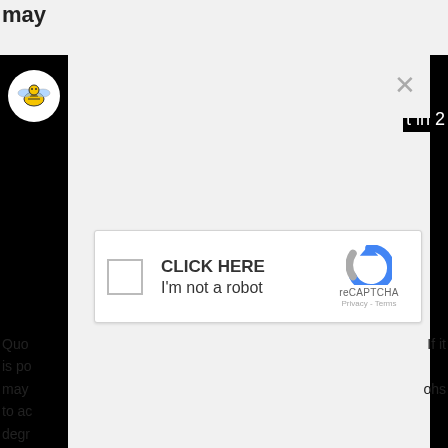may
[Figure (screenshot): reCAPTCHA dialog modal overlay showing a checkbox with 'CLICK HERE' and 'I'm not a robot' text, a reCAPTCHA logo in blue, and Privacy - Terms links. There is an X close button in the upper right. Behind the modal is a dark video player interface with a bee mascot icon and the partial text 't in 2' visible.]
Quo
If it
is po
may
ohs
to ac
degr